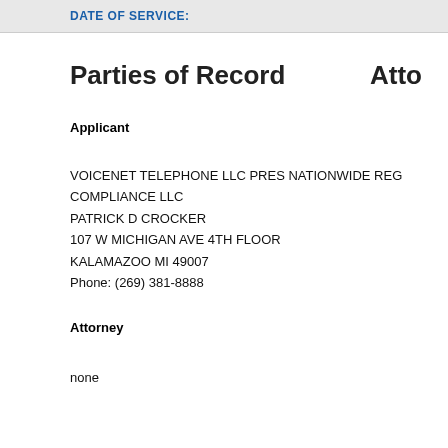DATE OF SERVICE:
Parties of Record
Applicant
VOICENET TELEPHONE LLC PRES NATIONWIDE REG COMPLIANCE LLC
PATRICK D CROCKER
107 W MICHIGAN AVE 4TH FLOOR
KALAMAZOO MI 49007
Phone: (269) 381-8888
NONE
Attorney
none
*Green,
Public U
180 E. B
Columbu
Phone: (